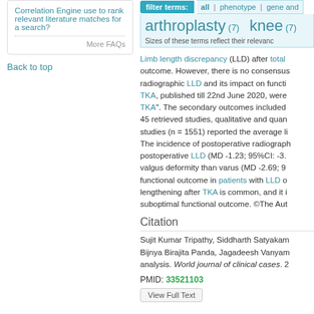Correlation Engine use to rank relevant literature matches for a search?
More FAQs
Back to top
filter terms:  all | phenotype | gene and
arthroplasty (7)   knee (7)  Sizes of these terms reflect their relevanc
Limb length discrepancy (LLD) after total outcome. However, there is no consensus radiographic LLD and its impact on functi TKA, published till 22nd June 2020, were TKA". The secondary outcomes included 45 retrieved studies, qualitative and quan studies (n = 1551) reported the average li The incidence of postoperative radiograph postoperative LLD (MD -1.23; 95%CI: -3. valgus deformity than varus (MD -2.69; 9 functional outcome in patients with LLD o lengthening after TKA is common, and it i suboptimal functional outcome. ©The Aut
Citation
Sujit Kumar Tripathy, Siddharth Satyakam Bijnya Birajita Panda, Jagadeesh Vanyam analysis. World journal of clinical cases. 2
PMID: 33521103
View Full Text